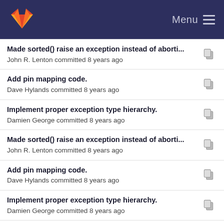GitLab Menu
Made sorted() raise an exception instead of aborti...
John R. Lenton committed 8 years ago
Add pin mapping code.
Dave Hylands committed 8 years ago
Implement proper exception type hierarchy.
Damien George committed 8 years ago
Made sorted() raise an exception instead of aborti...
John R. Lenton committed 8 years ago
Add pin mapping code.
Dave Hylands committed 8 years ago
Implement proper exception type hierarchy.
Damien George committed 8 years ago
Made sorted() raise an exception instead of aborti...
John R. Lenton committed 8 years ago